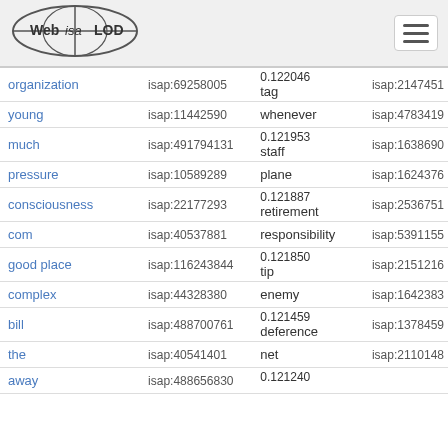[Figure (logo): Web isa LOD logo with globe]
| word | isap left | mid | isap right |
| --- | --- | --- | --- |
| organization | isap:69258005 | 0.122046
tag | isap:2147451 |
| young | isap:11442590 | whenever | isap:4783419 |
| much | isap:491794131 | 0.121953
staff | isap:1638690 |
| pressure | isap:10589289 | plane | isap:1624376 |
| consciousness | isap:22177293 | 0.121887
retirement | isap:2536751 |
| com | isap:40537881 | responsibility | isap:5391155 |
| good place | isap:116243844 | 0.121850
tip | isap:2151216 |
| complex | isap:44328380 | enemy | isap:1642383 |
| bill | isap:488700761 | 0.121459
deference | isap:1378459 |
| the | isap:40541401 | net | isap:2110148 |
| away | isap:488656830 | 0.121240 |  |